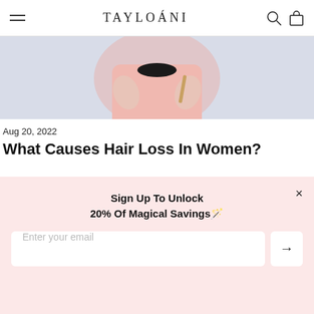TAYLOÁNI
[Figure (photo): Person in pink shirt holding something, close-up torso shot against light lavender background]
Aug 20, 2022
What Causes Hair Loss In Women?
[Figure (photo): Blonde woman with red-framed glasses peeking over a surface, pink background]
Sign Up To Unlock 20% Of Magical Savings🪄
Enter your email